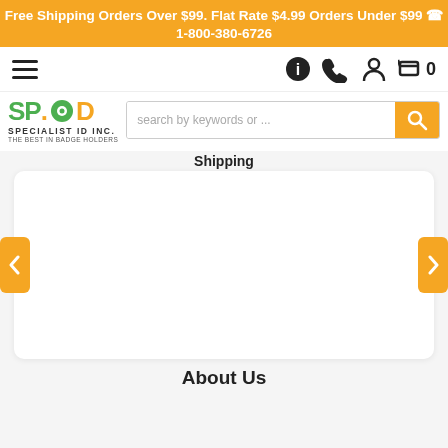Free Shipping Orders Over $99. Flat Rate $4.99 Orders Under $99 ☎ 1-800-380-6726
[Figure (screenshot): Website navigation bar with hamburger menu, info icon, phone icon, user icon, and cart with 0 items]
[Figure (logo): SPID Specialist ID Inc. logo with green SP and orange ID text, tagline THE BEST IN BADGE HOLDERS, and search bar]
Shipping
[Figure (screenshot): Main content area with white rounded rectangle, orange left and right navigation arrows]
About Us